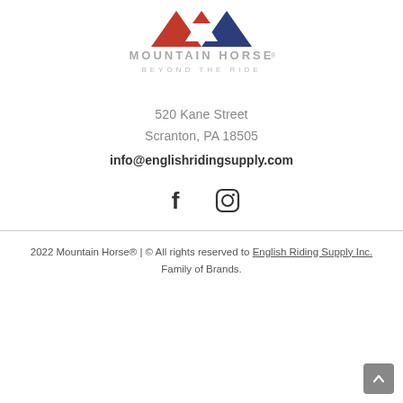[Figure (logo): Mountain Horse logo with triangular emblem in red, white and blue, text 'MOUNTAIN HORSE' and 'BEYOND THE RIDE' in grey]
520 Kane Street
Scranton, PA 18505
info@englishridingsupply.com
[Figure (other): Facebook and Instagram social media icons]
2022 Mountain Horse® | © All rights reserved to English Riding Supply Inc. Family of Brands.